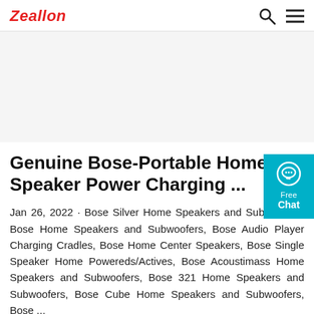Zeallon
[Figure (other): Gray advertisement/placeholder area]
[Figure (other): Cyan chat widget with speech bubble icon, labeled Free Chat]
Genuine Bose-Portable Home Speaker Power Charging ...
Jan 26, 2022 · Bose Silver Home Speakers and Subwoofers, Bose Home Speakers and Subwoofers, Bose Audio Player Charging Cradles, Bose Home Center Speakers, Bose Single Speaker Home Powereds/Actives, Bose Acoustimass Home Speakers and Subwoofers, Bose 321 Home Speakers and Subwoofers, Bose Cube Home Speakers and Subwoofers, Bose ...